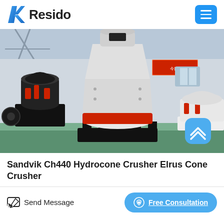Resido
[Figure (photo): Industrial factory floor showing multiple cone crushers. Center unit is large white hydrocone/cone crusher with a distinctive red ring collar, flanked by smaller black cone crushers on black steel platforms. Factory with high ceiling trusses and green-painted floor.]
Sandvik Ch440 Hydrocone Crusher Elrus Cone Crusher
Send Message
Free Consultation